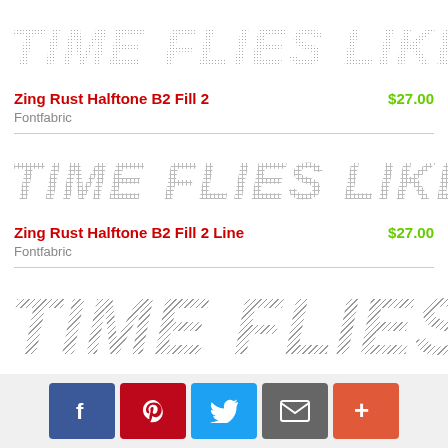[Figure (illustration): Font preview of 'TIME FLIES LIKE AN ARRO' in Zing Rust Halftone B2 Fill 2 style — large italic bold letters with halftone dot fill texture]
Zing Rust Halftone B2 Fill 2
$27.00
Fontfabric
[Figure (illustration): Font preview of 'TIME FLIES LIKE AN ARRI' in Zing Rust Halftone B2 Fill 2 Line style — large italic bold letters with halftone dot and line texture]
Zing Rust Halftone B2 Fill 2 Line
$27.00
Fontfabric
[Figure (illustration): Font preview of 'TIME FLIES LIKE AN ARRI' in Zing Rust Diagonals 1 Base style — extra large italic bold letters with diagonal line fill texture]
Zing Rust Diagonals 1 Base
$27.00
[Figure (infographic): Social sharing bar with Facebook, Pinterest, Twitter, email, and more buttons]